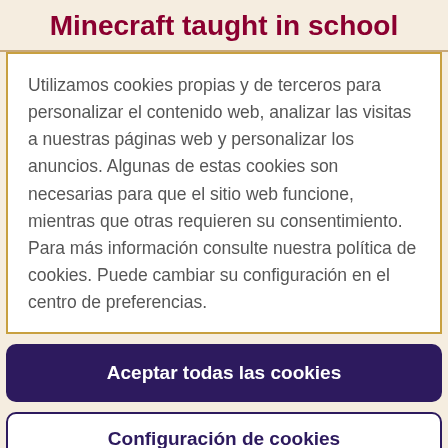Minecraft taught in school
Utilizamos cookies propias y de terceros para personalizar el contenido web, analizar las visitas a nuestras páginas web y personalizar los anuncios. Algunas de estas cookies son necesarias para que el sitio web funcione, mientras que otras requieren su consentimiento. Para más información consulte nuestra política de cookies. Puede cambiar su configuración en el centro de preferencias.
Aceptar todas las cookies
Configuración de cookies